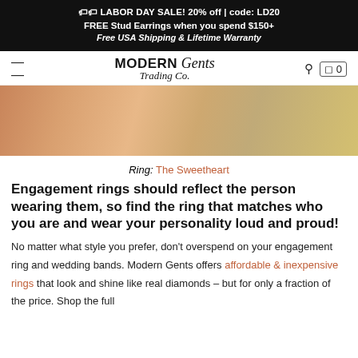🏷🏷 LABOR DAY SALE! 20% off | code: LD20
FREE Stud Earrings when you spend $150+
Free USA Shipping & Lifetime Warranty
[Figure (logo): Modern Gents Trading Co. logo with hamburger menu, search and cart icons]
[Figure (photo): Close-up photo of a hand wearing a ring, warm skin tones with blurred background]
Ring: The Sweetheart
Engagement rings should reflect the person wearing them, so find the ring that matches who you are and wear your personality loud and proud!
No matter what style you prefer, don't overspend on your engagement ring and wedding bands. Modern Gents offers affordable & inexpensive rings that look and shine like real diamonds – but for only a fraction of the price. Shop the full